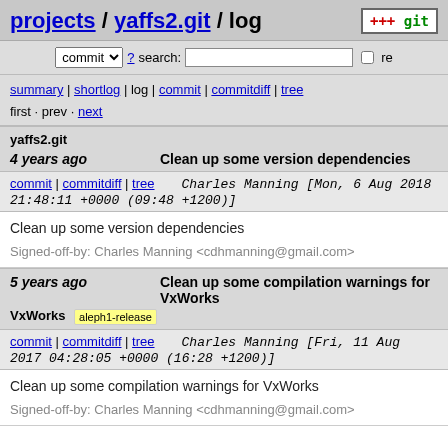projects / yaffs2.git / log
commit ? search: re
summary | shortlog | log | commit | commitdiff | tree
first · prev · next
yaffs2.git
4 years ago   Clean up some version dependencies
commit | commitdiff | tree   Charles Manning [Mon, 6 Aug 2018 21:48:11 +0000 (09:48 +1200)]
Clean up some version dependencies

Signed-off-by: Charles Manning <cdhmanning@gmail.com>
5 years ago   Clean up some compilation warnings for VxWorks   aleph1-release
commit | commitdiff | tree   Charles Manning [Fri, 11 Aug 2017 04:28:05 +0000 (16:28 +1200)]
Clean up some compilation warnings for VxWorks

Signed-off-by: Charles Manning <cdhmanning@gmail.com>